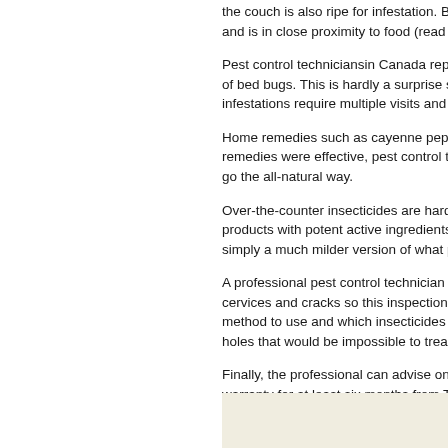the couch is also ripe for infestation. Bed and is in close proximity to food (read hu
Pest control techniciansin Canada report t of bed bugs. This is hardly a surprise sinc infestations require multiple visits and len
Home remedies such as cayenne pepper, remedies were effective, pest control tech go the all-natural way.
Over-the-counter insecticides are hardly a products with potent active ingredients are simply a much milder version of what prof
A professional pest control technician will cervices and cracks so this inspection nee method to use and which insecticides are holes that would be impossible to treat oth
Finally, the professional can advise on wh warranty for at least six months from The b that the treatment is not successful.
Contact The Exterminators: 647-496-2211 bugcontrol products.
Article Updated: October 16, 2020
See the original post here:
Can Bed Bugs Live In Wood Furniture & H